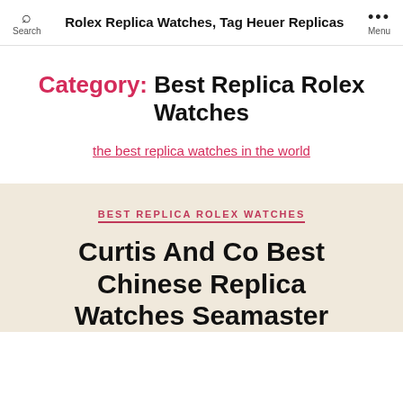Rolex Replica Watches, Tag Heuer Replicas
Category: Best Replica Rolex Watches
the best replica watches in the world
BEST REPLICA ROLEX WATCHES
Curtis And Co Best Chinese Replica Watches Seamaster